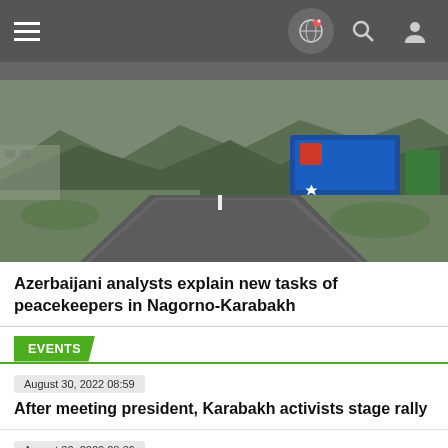Navigation bar with menu, globe, search, and user icons
[Figure (photo): Road curving through green landscape with mountains and roadside signage]
Azerbaijani analysts explain new tasks of peacekeepers in Nagorno-Karabakh
EVENTS
August 30, 2022 08:59
After meeting president, Karabakh activists stage rally
August 30, 2022 08:36
Stavropol activist reports pressure on her mother